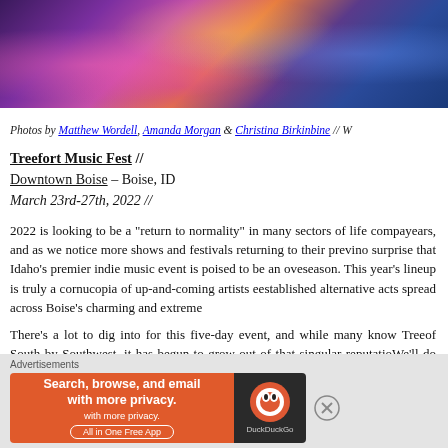[Figure (photo): Concert crowd photo with people raising hands, colorful lighting with purple, orange, and blue tones]
Photos by Matthew Wordell, Amanda Morgan & Christina Birkinbine // W...
Treefort Music Fest //
Downtown Boise – Boise, ID
March 23rd-27th, 2022 //
2022 is looking to be a "return to normality" in many sectors of life compa... years, and as we notice more shows and festivals returning to their previ... no surprise that Idaho's premier indie music event is poised to be an ove... season. This year's lineup is truly a cornucopia of up-and-coming artists ... established alternative acts spread across Boise's charming and extreme...
There's a lot to dig into for this five-day event, and while many know Tree... of South by Southwest, it has begun to grow out of that singular reputatio... We'll do our best to touch on as many areas, or Forts, below.
[Figure (screenshot): DuckDuckGo advertisement banner: Search, browse, and email with more privacy. All in One Free App]